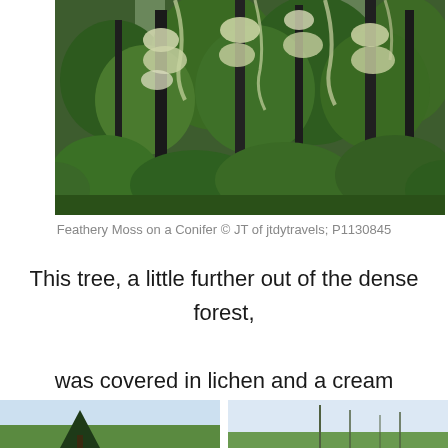[Figure (photo): Dense conifer forest with feathery cream/white moss and lichen hanging from dark tree trunks, surrounded by lush green vegetation]
Feathery Moss on a Conifer © JT of jtdytravels; P1130845
This tree, a little further out of the dense forest, was covered in lichen and a cream coloured, feathery moss.
[Figure (photo): Two partial landscape photos showing pine trees against a pale sky, partially cropped at page bottom]